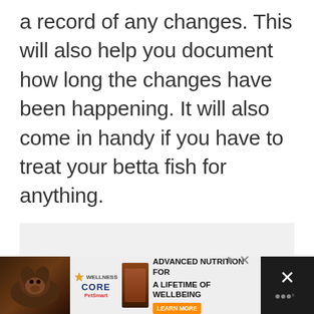a record of any changes. This will also help you document how long the changes have been happening. It will also come in handy if you have to treat your betta fish for anything.
[Figure (other): Gray content placeholder area with three dots indicating a loading or embedded media element, with like/count/share buttons on the right side]
[Figure (other): Advertisement banner for Wellness Core PetSmart showing dog food product with text 'Advanced Nutrition for a Lifetime of Wellbeing' and a Learn More button]